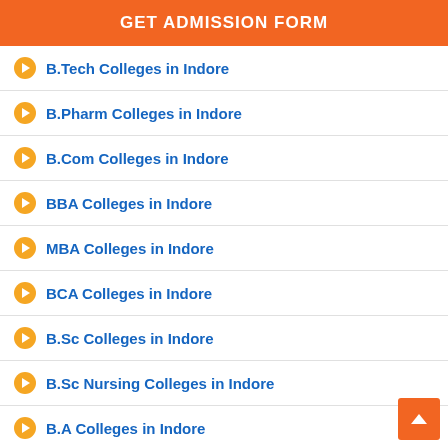GET ADMISSION FORM
B.Tech Colleges in Indore
B.Pharm Colleges in Indore
B.Com Colleges in Indore
BBA Colleges in Indore
MBA Colleges in Indore
BCA Colleges in Indore
B.Sc Colleges in Indore
B.Sc Nursing Colleges in Indore
B.A Colleges in Indore
BA+LLB Colleges in Indore
MCA Colleges in Indore
LLB Colleges in Indore
M.Sc Colleges in Indore
D.Pharma Colleges in Indore